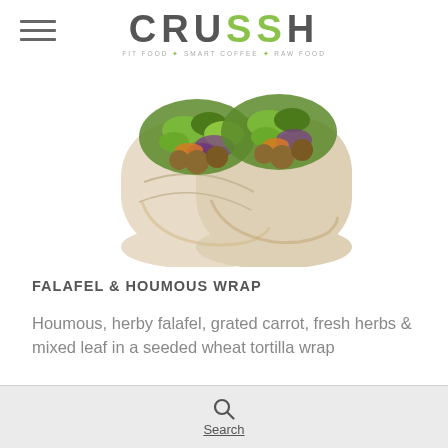CRUSSH — FIT FOOD · SMART COFFEE · RAW FOOD
[Figure (photo): Two falafel and houmous wraps photographed from above showing green salad leaves, mixed vegetables, and falafel inside wheat tortilla wraps]
FALAFEL & HOUMOUS WRAP
Houmous, herby falafel, grated carrot, fresh herbs & mixed leaf in a seeded wheat tortilla wrap
[Figure (infographic): Green circular info button with letter i]
Search